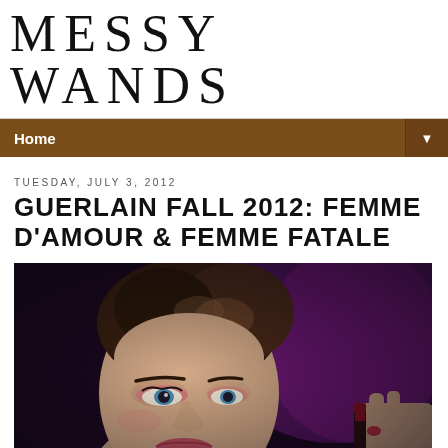MESSY WANDS
Home
TUESDAY, JULY 3, 2012
GUERLAIN FALL 2012: FEMME D'AMOUR & FEMME FATALE
[Figure (photo): Close-up photo of a woman with styled brown hair, blue eyes and pink eye makeup, holding a makeup product against a purple/dark background]